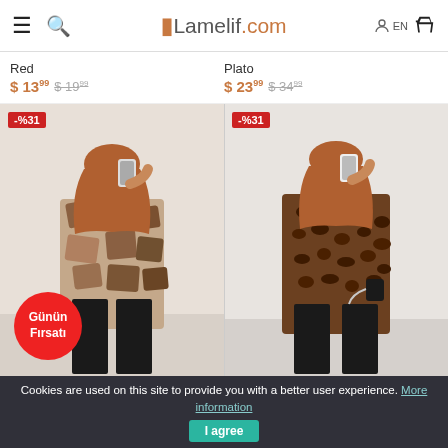Lamelif.com
Red
$ 13.99  $ 19.99
Plato
$ 23.99  $ 34.99
[Figure (photo): Woman wearing patterned shirt and black wide-leg trousers, hijab, taking mirror selfie. Discount badge: -%31. Günün Fırsatı (Deal of the Day) red circle badge.]
[Figure (photo): Woman wearing leopard-print tunic and black wide-leg trousers, hijab, taking mirror selfie. Discount badge: -%31.]
Cookies are used on this site to provide you with a better user experience. More information  I agree